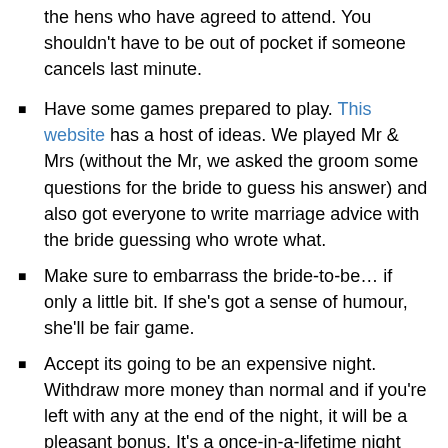the hens who have agreed to attend. You shouldn't have to be out of pocket if someone cancels last minute.
Have some games prepared to play. This website has a host of ideas. We played Mr & Mrs (without the Mr, we asked the groom some questions for the bride to guess his answer) and also got everyone to write marriage advice with the bride guessing who wrote what.
Make sure to embarrass the bride-to-be… if only a little bit. If she's got a sense of humour, she'll be fair game.
Accept its going to be an expensive night. Withdraw more money than normal and if you're left with any at the end of the night, it will be a pleasant bonus. It's a once-in-a-lifetime night out for the bride (fingers crossed!) so try to widen your budget.